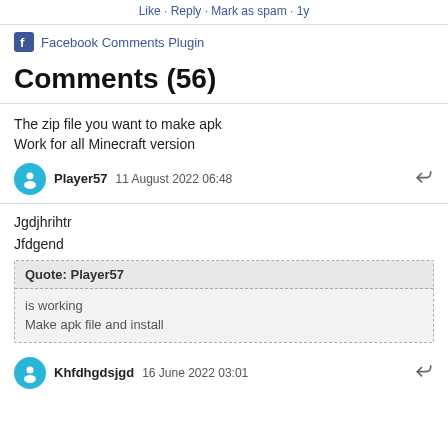Like · Reply · Mark as spam · 1y
Facebook Comments Plugin
Comments (56)
The zip file you want to make apk
Work for all Minecraft version
Player57   11 August 2022 06:48
Jgdjhrihtr

Jfdgend
Quote: Player57
is working
Make apk file and install
Khfdhgdsjgd   16 June 2022 03:01